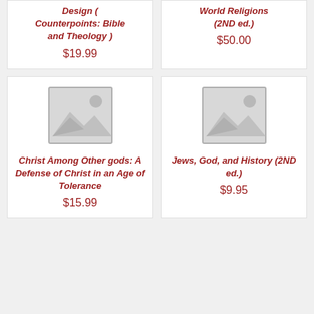Design ( Counterpoints: Bible and Theology )
$19.99
World Religions (2ND ed.)
$50.00
[Figure (illustration): Placeholder image icon for book cover - mountains and sun graphic]
Christ Among Other gods: A Defense of Christ in an Age of Tolerance
$15.99
[Figure (illustration): Placeholder image icon for book cover - mountains and sun graphic]
Jews, God, and History (2ND ed.)
$9.95